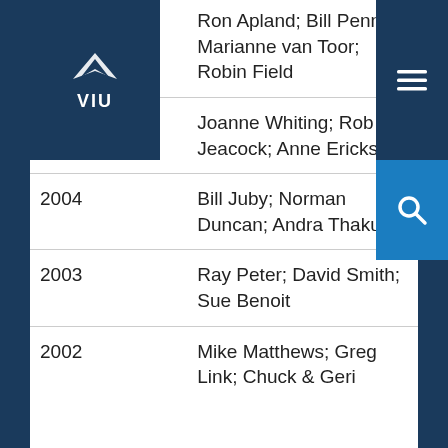[Figure (logo): VIU (Vancouver Island University) logo: white bird/fish icon above the text VIU on a dark navy background]
| Year | Names |
| --- | --- |
| 2006 | Ron Apland; Bill Pennell; Marianne van Toor; Robin Field |
| 2005 | Joanne Whiting; Rob Jeacock; Anne Erickson |
| 2004 | Bill Juby; Norman Duncan; Andra Thakur |
| 2003 | Ray Peter; David Smith; Sue Benoit |
| 2002 | Mike Matthews; Greg Link; Chuck & Geri |